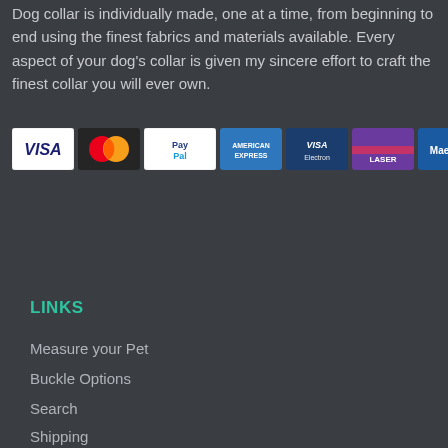Dog collar is individually made, one at a time, from beginning to end using the finest fabrics and materials available. Every aspect of your dog's collar is given my sincere effort to craft the finest collar you will ever own.
[Figure (infographic): Row of 9 payment method logos: VISA, MasterCard, PayPal, American Express, VISA Electron, Laser, Maestro, Delta, Solo]
LINKS
Measure your Pet
Buckle Options
Search
Shipping